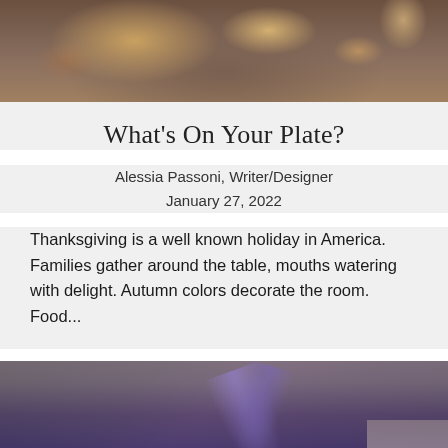[Figure (photo): Thanksgiving food spread on a wooden table with a dish of food, napkins, and glassware visible from above]
What's On Your Plate?
Alessia Passoni, Writer/Designer
January 27, 2022
Thanksgiving is a well known holiday in America. Families gather around the table, mouths watering with delight. Autumn colors decorate the room. Food...
[Figure (photo): Indoor venue with purple and blue stage lighting, dark walls, and decorative lights visible at the bottom]